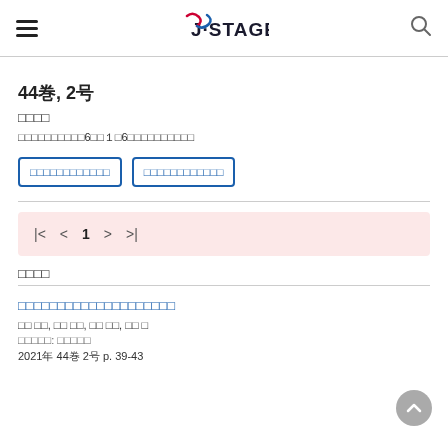J-STAGE
44巻, 2号
□□□□
□□□□□□□□□□6□□１□6□□□□□□□□□□
□□□□□□□□□□□□  □□□□□□□□□□□□
1
□□□□
□□□□□□□□□□□□□□□□□□□□
□□ □□, □□ □□, □□ □□, □□ □
□□□□□: □□□□□
2021年 44巻 2号 p. 39-43